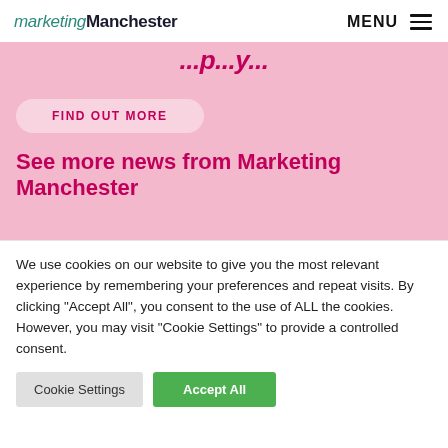marketingManchester  MENU ☰
[Figure (screenshot): Pink banner section showing partial italic heading text in magenta at top, a 'FIND OUT MORE' pill button in light pink, and a bold magenta heading 'See more news from Marketing Manchester']
We use cookies on our website to give you the most relevant experience by remembering your preferences and repeat visits. By clicking "Accept All", you consent to the use of ALL the cookies. However, you may visit "Cookie Settings" to provide a controlled consent.
Cookie Settings  Accept All